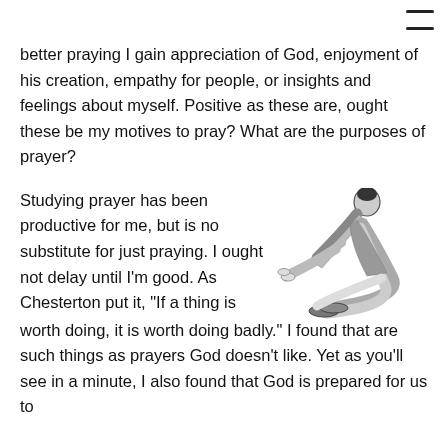≡
better praying I gain appreciation of God, enjoyment of his creation, empathy for people, or insights and feelings about myself. Positive as these are, ought these be my motives to pray?  What are the purposes of prayer?
Studying prayer has been productive for me, but is no substitute for just praying.  I ought not delay until I'm good. As Chesterton put it, "If a thing is worth doing, it is worth doing badly."  I found that are such things as prayers God doesn't like. Yet as you'll see in a minute, I also found that God is prepared for us to
[Figure (illustration): Line drawing illustration of a person sitting on the floor stretching forward, touching their toes with both hands, in a seated forward bend stretch pose. Grayscale.]